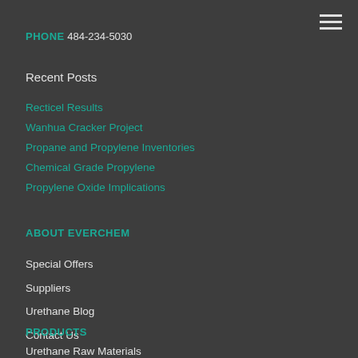PHONE 484-234-5030
Recent Posts
Recticel Results
Wanhua Cracker Project
Propane and Propylene Inventories
Chemical Grade Propylene
Propylene Oxide Implications
ABOUT EVERCHEM
Special Offers
Suppliers
Urethane Blog
Contact Us
PRODUCTS
Urethane Raw Materials